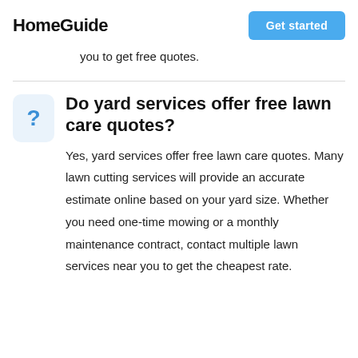HomeGuide
you to get free quotes.
Do yard services offer free lawn care quotes?
Yes, yard services offer free lawn care quotes. Many lawn cutting services will provide an accurate estimate online based on your yard size. Whether you need one-time mowing or a monthly maintenance contract, contact multiple lawn services near you to get the cheapest rate.